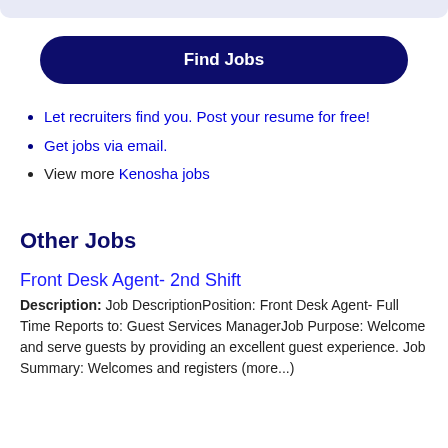[Figure (other): Light blue rounded top bar UI element]
Find Jobs
Let recruiters find you. Post your resume for free!
Get jobs via email.
View more Kenosha jobs
Other Jobs
Front Desk Agent- 2nd Shift
Description: Job DescriptionPosition: Front Desk Agent- Full Time Reports to: Guest Services ManagerJob Purpose: Welcome and serve guests by providing an excellent guest experience. Job Summary: Welcomes and registers (more...)